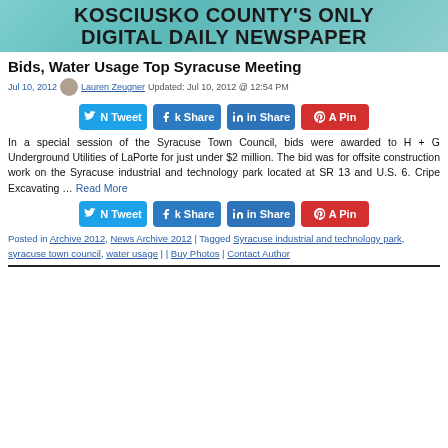[Figure (illustration): Website header banner with teal/cyan background showing text 'KOSCIUSKO COUNTY'S ONLY DIGITAL DAILY NEWSPAPER' in large bold black letters]
Bids, Water Usage Top Syracuse Meeting
Jul 10, 2012  Lauren Zeugner  Updated: Jul 10, 2012 @ 12:54 PM
[Figure (infographic): Row of four social share buttons: Tweet (blue), Share (blue), Share (LinkedIn blue), Pin (red)]
In a special session of the Syracuse Town Council, bids were awarded to H + G Underground Utilities of LaPorte for just under $2 million. The bid was for offsite construction work on the Syracuse industrial and technology park located at SR 13 and U.S. 6. Cripe Excavating … Read More
[Figure (infographic): Row of four social share buttons: Tweet (blue), Share (blue), Share (LinkedIn blue), Pin (red)]
Posted in Archive 2012, News Archive 2012 | Tagged Syracuse industrial and technology park, syracuse town council, water usage | | Buy Photos | Contact Author